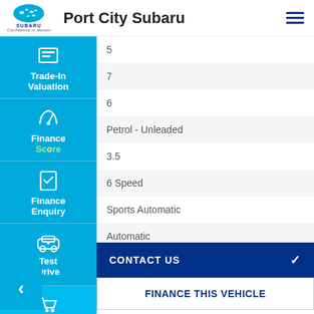Port City Subaru
| 5 |
| 7 |
| 6 |
| Petrol - Unleaded |
| 3.5 |
| 6 Speed |
| Sports Automatic |
| Automatic |
CONTACT US
FINANCE THIS VEHICLE